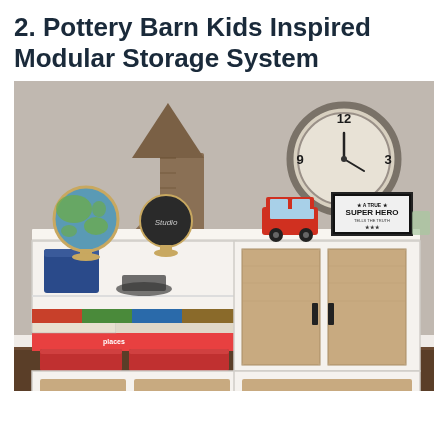2. Pottery Barn Kids Inspired Modular Storage System
[Figure (photo): A kids' modular storage system inspired by Pottery Barn Kids, set against a grey wall. The white storage unit has open shelves on the left with books and a blue bin, and closed cabinet doors with wood-panel fronts on the right. Bottom section has drawers with wood-panel fronts and black handles. Decorations on top include a globe, chalkboard globe, toy VW bus, and framed superhero poster. Wall decorations include a large metal arrow and a round industrial-style clock.]